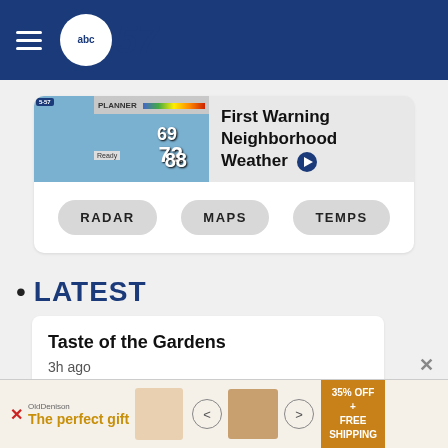[Figure (screenshot): ABC57 news website header with hamburger menu and ABC57 logo on dark blue background]
[Figure (screenshot): First Warning Neighborhood Weather video thumbnail showing weather planner with temperatures 69, 72, 88]
First Warning Neighborhood Weather
RADAR
MAPS
TEMPS
LATEST
Taste of the Gardens
3h ago
[Figure (photo): Advertisement banner: The perfect gift - 35% OFF + FREE SHIPPING]